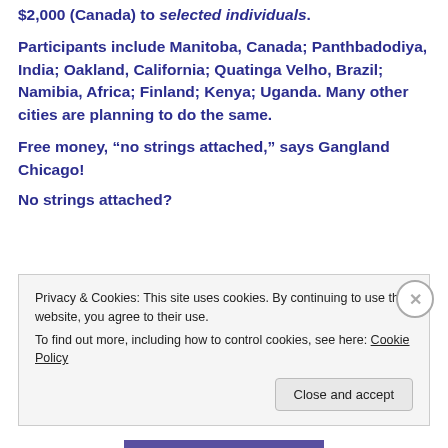$2,000 (Canada) to selected individuals.
Participants include Manitoba, Canada; Panthbadodiya, India; Oakland, California; Quatinga Velho, Brazil; Namibia, Africa; Finland; Kenya; Uganda. Many other cities are planning to do the same.
Free money, “no strings attached,” says Gangland Chicago!
No strings attached?
Privacy & Cookies: This site uses cookies. By continuing to use this website, you agree to their use.
To find out more, including how to control cookies, see here: Cookie Policy